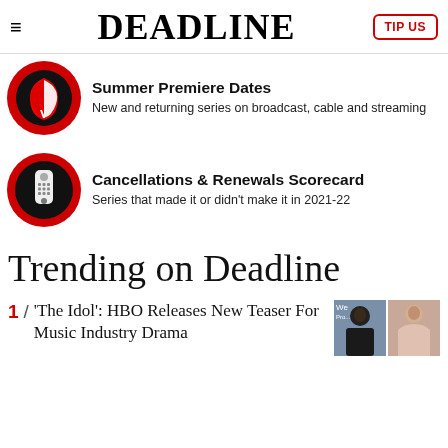DEADLINE | TIP US
[Figure (logo): Red circle with white leaf icon - Summer Premiere Dates promo]
Summer Premiere Dates
New and returning series on broadcast, cable and streaming
[Figure (logo): Red circle with white TV remote icon - Cancellations & Renewals Scorecard promo]
Cancellations & Renewals Scorecard
Series that made it or didn't make it in 2021-22
Trending on Deadline
1 / 'The Idol': HBO Releases New Teaser For Music Industry Drama
[Figure (photo): Two celebrity photos side by side - man in dark suit and woman]